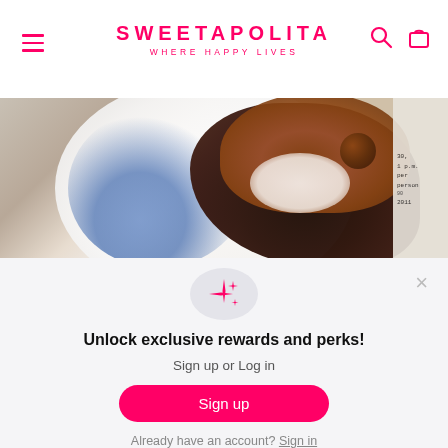SWEETAPOLITA — WHERE HAPPY LIVES
[Figure (photo): Close-up photo of a chocolate cupcake or dessert on a decorative blue and white plate, with chocolate frosting and a chocolate truffle on top. A paper note is visible on the right side.]
Unlock exclusive rewards and perks!
Sign up or Log in
Sign up
Already have an account? Sign in